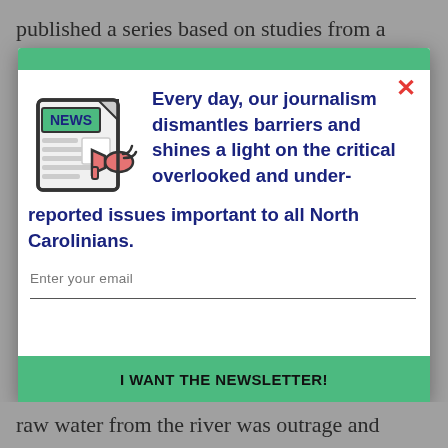published a series based on studies from a
[Figure (illustration): News newspaper icon with a megaphone/bullhorn attached, colorful illustration with green header banner reading NEWS]
Every day, our journalism dismantles barriers and shines a light on the critical overlooked and under-reported issues important to all North Carolinians.
Enter your email
I WANT THE NEWSLETTER!
raw water from the river was outrage and